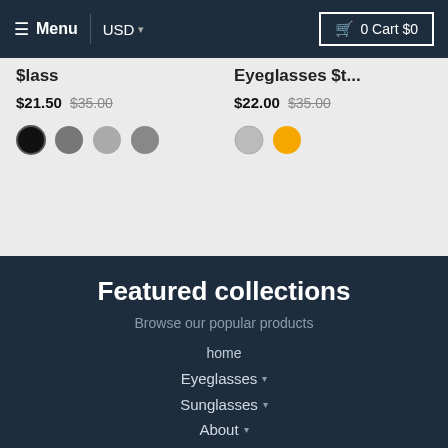Menu  USD  0 Cart $0
$21.50  $35.00
[Figure (other): Color swatches: black, dark gray, light gray, medium gray]
$22.00  $35.00
[Figure (other): Color swatches: silver gray, orange]
Featured collections
Browse our popular products
home
Eyeglasses ▾
Sunglasses ▾
About ▾
Tips & Guide ▾